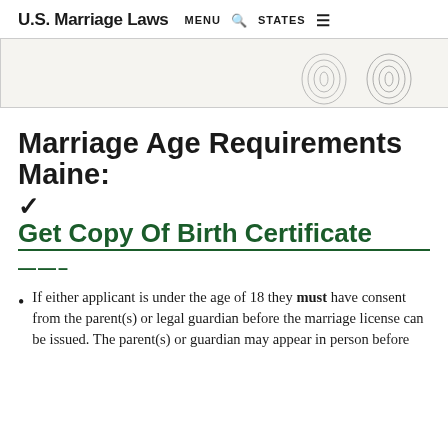U.S. Marriage Laws   MENU   🔍   STATES   ☰
[Figure (illustration): Partial banner image showing two fingerprints on a light background]
Marriage Age Requirements Maine:
✓
Get Copy Of Birth Certificate
——-
If either applicant is under the age of 18 they must have consent from the parent(s) or legal guardian before the marriage license can be issued. The parent(s) or guardian may appear in person before